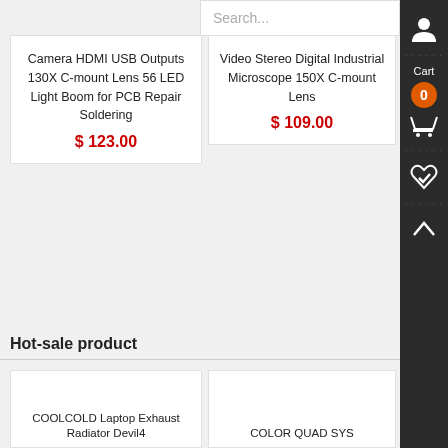Search...
Camera HDMI USB Outputs 130X C-mount Lens 56 LED Light Boom for PCB Repair Soldering
$ 123.00
Video Stereo Digital Industrial Microscope 150X C-mount Lens
$ 109.00
Hot-sale product
COOLCOLD Laptop Exhaust Radiator Devil4
COLOR QUAD SYS